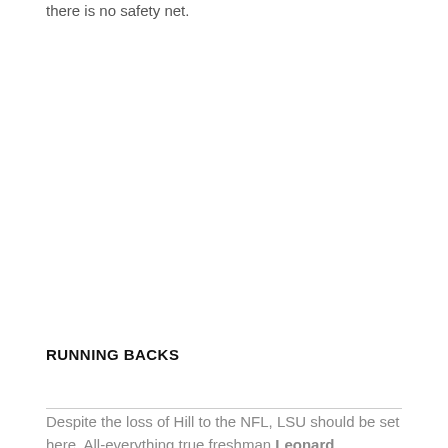there is no safety net.
RUNNING BACKS
Despite the loss of Hill to the NFL, LSU should be set here. All-everything true freshman Leonard Fournette could very